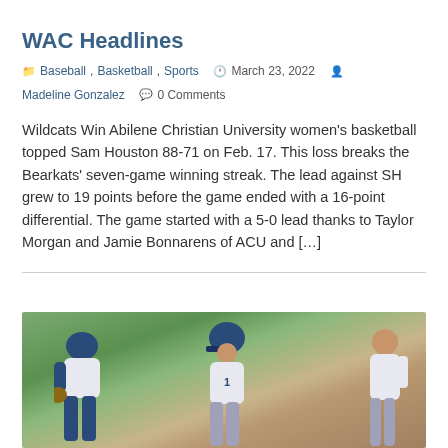WAC Headlines
Baseball, Basketball, Sports  March 23, 2022  Madeline Gonzalez  0 Comments
Wildcats Win Abilene Christian University women’s basketball topped Sam Houston 88-71 on Feb. 17. This loss breaks the Bearkats’ seven-game winning streak. The lead against SH grew to 19 points before the game ended with a 16-point differential. The game started with a 5-0 lead thanks to Taylor Morgan and Jamie Bonnarens of ACU and […]
[Figure (photo): Baseball players on a field, one sliding and others nearby, wearing blue and white uniforms on a green and dirt field.]